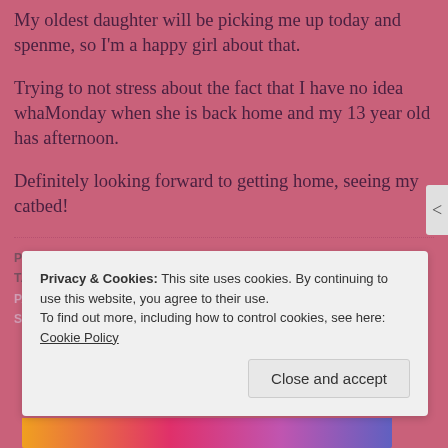My oldest daughter will be picking me up today and spending time with me, so I'm a happy girl about that.
Trying to not stress about the fact that I have no idea what I will do Monday when she is back home and my 13 year old has a half day in the afternoon.
Definitely looking forward to getting home, seeing my cats and sleeping in my own bed!
POSTED IN: SURGERY
TAGGED: BOOKS, BROKEN BONES, MICHIGAN, READING, SINGLE PARENT, SURGERY, WINTER
Privacy & Cookies: This site uses cookies. By continuing to use this website, you agree to their use. To find out more, including how to control cookies, see here: Cookie Policy